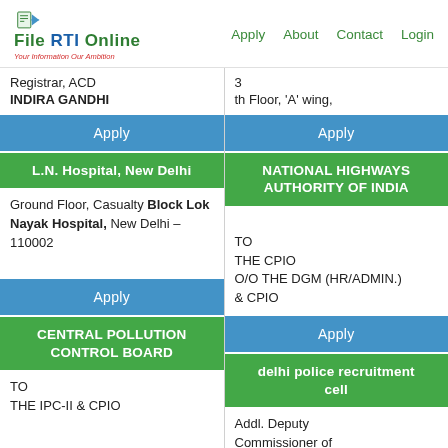File RTI Online — Your Information Our Ambition | Apply About Contact Login
Registrar, ACD
INDIRA GANDHI
3
th Floor, 'A' wing,
Apply
Apply
L.N. Hospital, New Delhi
NATIONAL HIGHWAYS AUTHORITY OF INDIA
Ground Floor, Casualty Block Lok Nayak Hospital, New Delhi – 110002
TO
THE CPIO
O/O THE DGM (HR/ADMIN.) & CPIO
Apply
Apply
CENTRAL POLLUTION CONTROL BOARD
delhi police recruitment cell
TO
THE IPC-II & CPIO
Addl. Deputy Commissioner of